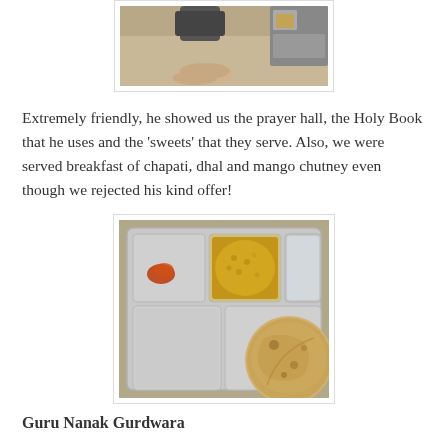[Figure (photo): Top portion of a photo showing feet/legs on a surface, partially cut off at top of page]
Extremely friendly, he showed us the prayer hall, the Holy Book that he uses and the 'sweets' that they serve. Also, we were served breakfast of chapati, dhal and mango chutney even though we rejected his kind offer!
[Figure (photo): A metal thali (tray) with compartments containing dhal (yellow lentils), mango chutney (orange), empty compartments, and a chapati (flatbread) on the side]
Guru Nanak Gurdwara